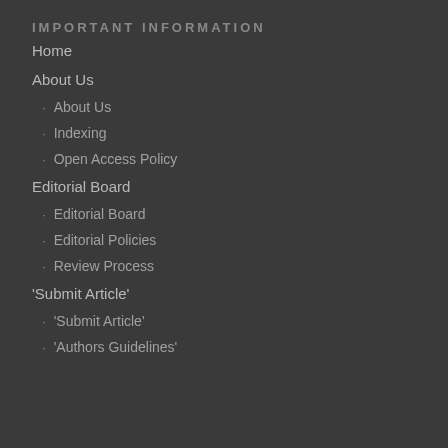IMPORTANT INFORMATION
Home
About Us
About Us
Indexing
Open Access Policy
Editorial Board
Editorial Board
Editorial Policies
Review Process
'Submit Article'
'Submit Article'
'Authors Guidelines'